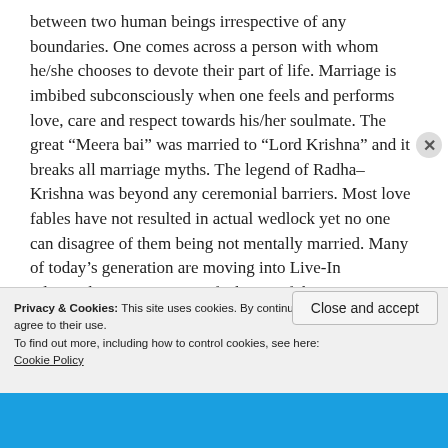between two human beings irrespective of any boundaries. One comes across a person with whom he/she chooses to devote their part of life. Marriage is imbibed subconsciously when one feels and performs love, care and respect towards his/her soulmate. The great “Meera bai” was married to “Lord Krishna” and it breaks all marriage myths. The legend of Radha–Krishna was beyond any ceremonial barriers. Most love fables have not resulted in actual wedlock yet no one can disagree of them being not mentally married. Many of today’s generation are moving into Live-In relationships irrespective of when or if they
Privacy & Cookies: This site uses cookies. By continuing to use this website, you agree to their use.
To find out more, including how to control cookies, see here: Cookie Policy
Close and accept